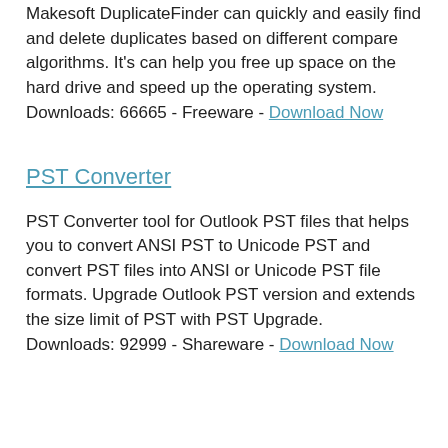Makesoft DuplicateFinder can quickly and easily find and delete duplicates based on different compare algorithms. It's can help you free up space on the hard drive and speed up the operating system.
Downloads: 66665 - Freeware - Download Now
PST Converter
PST Converter tool for Outlook PST files that helps you to convert ANSI PST to Unicode PST and convert PST files into ANSI or Unicode PST file formats. Upgrade Outlook PST version and extends the size limit of PST with PST Upgrade.
Downloads: 92999 - Shareware - Download Now